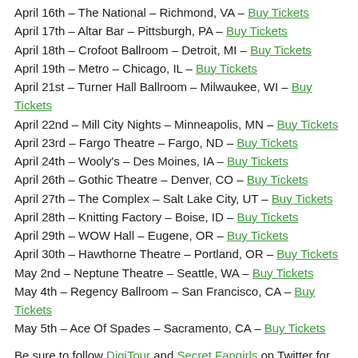April 16th – The National – Richmond, VA – Buy Tickets
April 17th – Altar Bar – Pittsburgh, PA – Buy Tickets
April 18th – Crofoot Ballroom – Detroit, MI – Buy Tickets
April 19th – Metro – Chicago, IL – Buy Tickets
April 21st – Turner Hall Ballroom – Milwaukee, WI – Buy Tickets
April 22nd – Mill City Nights – Minneapolis, MN – Buy Tickets
April 23rd – Fargo Theatre – Fargo, ND – Buy Tickets
April 24th – Wooly's – Des Moines, IA – Buy Tickets
April 26th – Gothic Theatre – Denver, CO – Buy Tickets
April 27th – The Complex – Salt Lake City, UT – Buy Tickets
April 28th – Knitting Factory – Boise, ID – Buy Tickets
April 29th – WOW Hall – Eugene, OR – Buy Tickets
April 30th – Hawthorne Theatre – Portland, OR – Buy Tickets
May 2nd – Neptune Theatre – Seattle, WA – Buy Tickets
May 4th – Regency Ballroom – San Francisco, CA – Buy Tickets
May 5th – Ace Of Spades – Sacramento, CA – Buy Tickets
Be sure to follow DigiTour and Secret Fangirls on Twitter for the latest updates.